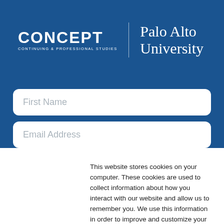[Figure (logo): CONCEPT Continuing & Professional Studies | Palo Alto University logo on blue header]
First Name
Email Address
This website stores cookies on your computer. These cookies are used to collect information about how you interact with our website and allow us to remember you. We use this information in order to improve and customize your browsing experience and for analytics and metrics about our visitors both on this website and other media. To find out more about the cookies we use, see our Privacy Policy
Accept